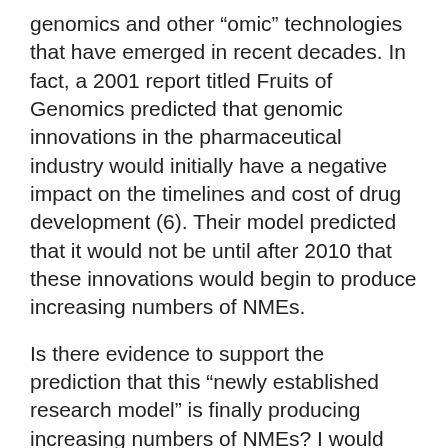genomics and other “omic” technologies that have emerged in recent decades. In fact, a 2001 report titled Fruits of Genomics predicted that genomic innovations in the pharmaceutical industry would initially have a negative impact on the timelines and cost of drug development (6). Their model predicted that it would not be until after 2010 that these innovations would begin to produce increasing numbers of NMEs.
Is there evidence to support the prediction that this “newly established research model” is finally producing increasing numbers of NMEs? I would suggest that you first read “How to Lie with Statistics,” then come to your own conclusions.
Fred Ledley is Director of the Center for Integration of Science and Industry at Bentley University, and Professor of Natural & Applied Science and Management.
1 - http://bigstory.ap.org/article/new-drug-approvals-fda-